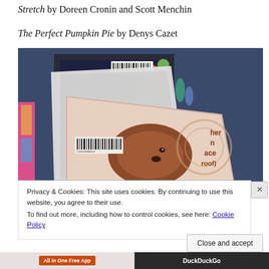Stretch by Doreen Cronin and Scott Menchin
The Perfect Pumpkin Pie by Denys Cazet
[Figure (photo): A collection of children's library books fanned out on a dark blue surface, showing their spines and covers with barcodes visible. One prominent book in the foreground appears to feature an animal (possibly a bear or lion) on its cover. Text visible on one book reads 'her n ace roof)']
Privacy & Cookies: This site uses cookies. By continuing to use this website, you agree to their use.
To find out more, including how to control cookies, see here: Cookie Policy
Close and accept